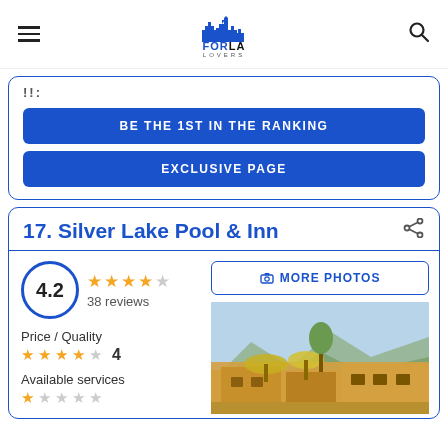FOR LA LOVERS — navigation header with hamburger menu and search icon
!!
BE THE 1ST IN THE RANKING
EXCLUSIVE PAGE
17. Silver Lake Pool & Inn
4.2 — 38 reviews — 4.5 stars (4 filled, 1 half)
Price / Quality — 4
Available services
[Figure (photo): Hotel exterior photo showing a warm-toned building with umbrellas and trees against a blue sky]